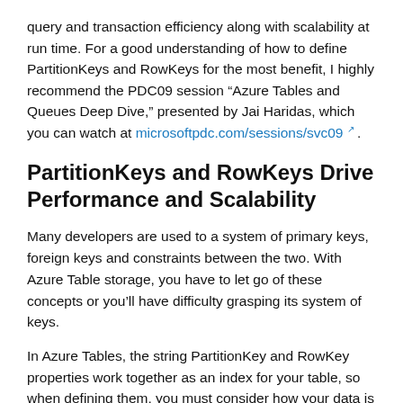query and transaction efficiency along with scalability at run time. For a good understanding of how to define PartitionKeys and RowKeys for the most benefit, I highly recommend the PDC09 session “Azure Tables and Queues Deep Dive,” presented by Jai Haridas, which you can watch at microsoftpdc.com/sessions/svc09 .
PartitionKeys and RowKeys Drive Performance and Scalability
Many developers are used to a system of primary keys, foreign keys and constraints between the two. With Azure Table storage, you have to let go of these concepts or you’ll have difficulty grasping its system of keys.
In Azure Tables, the string PartitionKey and RowKey properties work together as an index for your table, so when defining them, you must consider how your data is